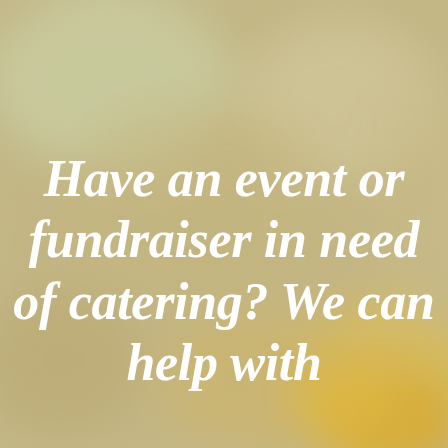[Figure (photo): Blurred food/catering background image with soft warm tones of green, tan, and golden yellow]
Have an event or fundraiser in need of catering? We can help with